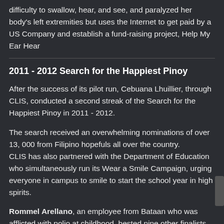difficulty to swallow, hear, and see, and paralyzed her body's left extremities but uses the Internet to get paid by a US Company and establish a fund-raising project, Help My Ear Hear
2011 - 2012 Search for the Happiest Pinoy
After the success of its pilot run, Cebuana Lhuillier, through CLIS, conducted a second streak of the Search for the Happiest Pinoy in 2011 - 2012.
The search received an overwhelming nominations of over 13, 000 from Filipino hopefuls all over the country.
CLIS has also partnered with the Department of Education who simultaneously run its Wear a Smile Campaign, urging everyone in campus to smile to start the school year in high spirits.
Rommel Arellano, an employee from Bataan who was afflicted with polio at childhood, bested nine other finalists for the 2012 Search for the Happiest Pinoy.
Its top ten finalists also included:
Arnel Alipao – a student from Surigao del Norte who lost